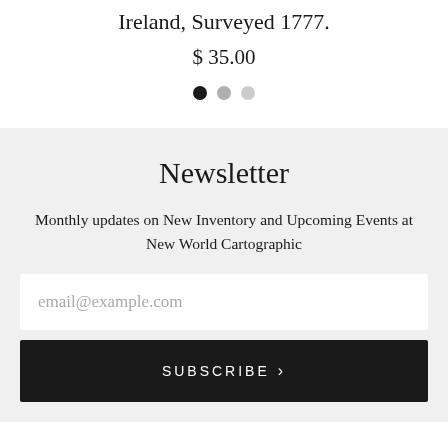Ireland, Surveyed 1777.
$ 35.00
[Figure (other): Three pagination dots: one filled black, one medium grey, one light grey]
Newsletter
Monthly updates on New Inventory and Upcoming Events at New World Cartographic
email@example.com
SUBSCRIBE >